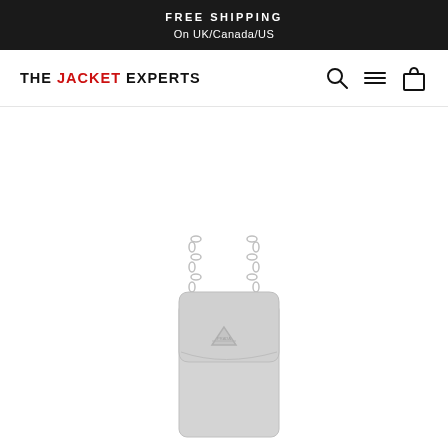FREE SHIPPING
On UK/Canada/US
THE JACKET EXPERTS
[Figure (illustration): A light gray small crossbody phone bag with a flap closure, triangular logo badge on the front, and a silver chain strap. Illustrated in gray tones against a white background.]